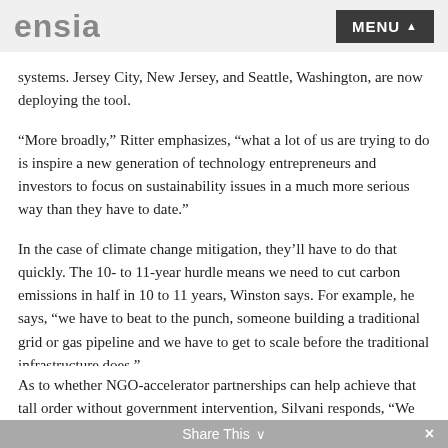ensia | MENU
systems. Jersey City, New Jersey, and Seattle, Washington, are now deploying the tool.
“More broadly,” Ritter emphasizes, “what a lot of us are trying to do is inspire a new generation of technology entrepreneurs and investors to focus on sustainability issues in a much more serious way than they have to date.”
In the case of climate change mitigation, they’ll have to do that quickly. The 10- to 11-year hurdle means we need to cut carbon emissions in half in 10 to 11 years, Winston says. For example, he says, “we have to beat to the punch, someone building a traditional grid or gas pipeline and we have to get to scale before the traditional infrastructure does.”
As to whether NGO-accelerator partnerships can help achieve that tall order without government intervention, Silvani responds, “We
Share This